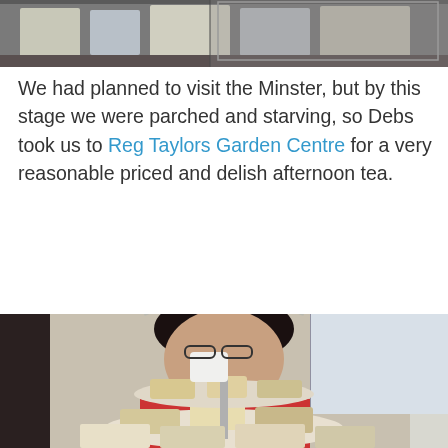[Figure (photo): Partial view of an indoor scene, likely a cafe or restaurant interior, visible at the top of the page.]
We had planned to visit the Minster, but by this stage we were parched and starving, so Debs took us to Reg Taylors Garden Centre for a very reasonable priced and delish afternoon tea.
[Figure (photo): A woman with dark hair and glasses holding a teacup in front of a tiered cake stand filled with scones and sandwiches, at Reg Taylors Garden Centre.]